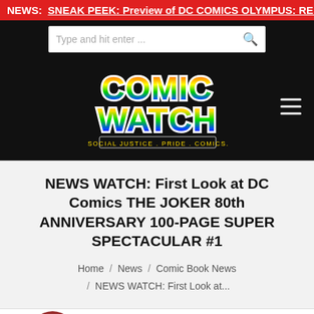NEWS:  SNEAK PEEK: Preview of DC COMICS OLYMPUS: REB
[Figure (logo): Comic Watch logo with rainbow gradient text. COMIC WATCH. Subtitle: SOCIAL JUSTICE . PRIDE . COMICS.]
NEWS WATCH: First Look at DC Comics THE JOKER 80th ANNIVERSARY 100-PAGE SUPER SPECTACULAR #1
Home / News / Comic Book News / NEWS WATCH: First Look at...
[Figure (photo): Partial image of a person at the bottom of the page, only the top of the head visible]